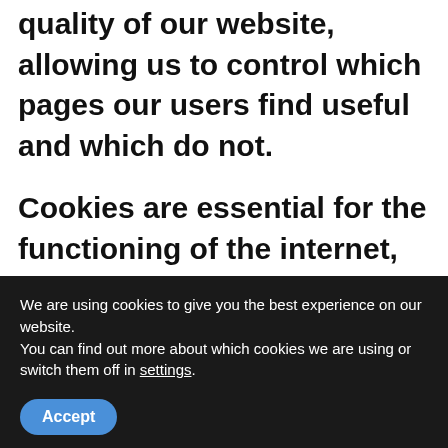quality of our website, allowing us to control which pages our users find useful and which do not.
Cookies are essential for the functioning of the internet, providing innumerable advantages in the provision of interactive services, facilitating navigation and usability of our website. Keep in mind that cookies can not damage your computer and, in turn, that
We are using cookies to give you the best experience on our website.
You can find out more about which cookies we are using or switch them off in settings.
Accept